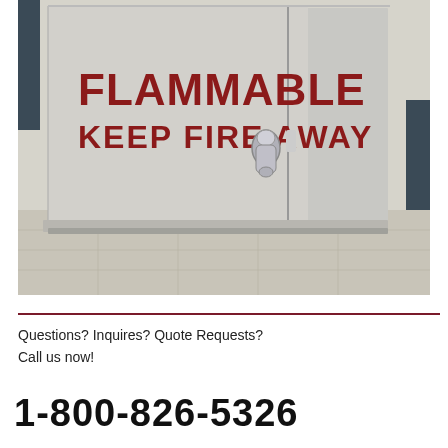[Figure (photo): A gray metal flammable storage cabinet with 'FLAMMABLE KEEP FIRE AWAY' printed in bold dark red text on the door. The cabinet has a silver handle/latch on the door. The cabinet sits on a gray tile floor against a wall.]
Questions? Inquires? Quote Requests?
Call us now!
1-800-826-5326